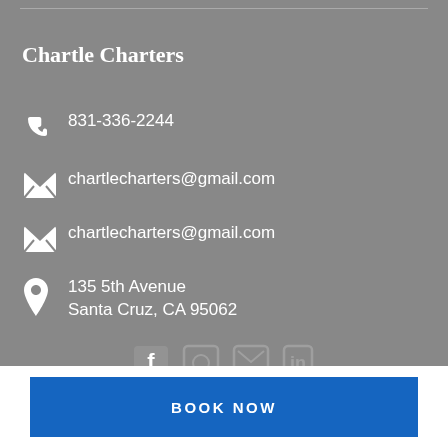Chartle Charters
831-336-2244
chartlecharters@gmail.com
chartlecharters@gmail.com
135 5th Avenue
Santa Cruz, CA 95062
[Figure (other): Social media icons (Facebook, Instagram, email, LinkedIn) partially visible at bottom of gray section]
BOOK NOW